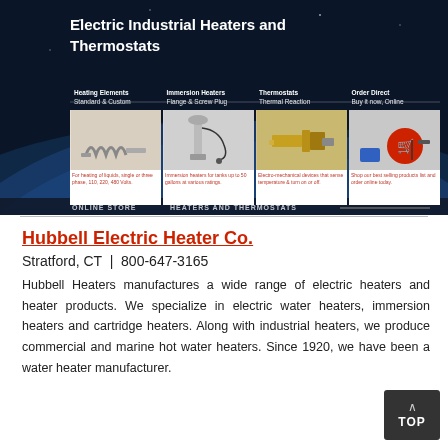[Figure (screenshot): Website screenshot for an electric industrial heaters and thermostats company, showing navigation menu with Heating Elements, Immersion Heaters, Thermostats, Order Direct, and product images below each category with red text descriptions. Bottom bar shows ONLINE STORE and HEATERS AND THERMOSTATS links.]
Hubbell Electric Heater Co.
Stratford, CT | 800-647-3165
Hubbell Heaters manufactures a wide range of electric heaters and heater products. We specialize in electric water heaters, immersion heaters and cartridge heaters. Along with industrial heaters, we produce commercial and marine hot water heaters. Since 1920, we have been a water heater manufacturer.